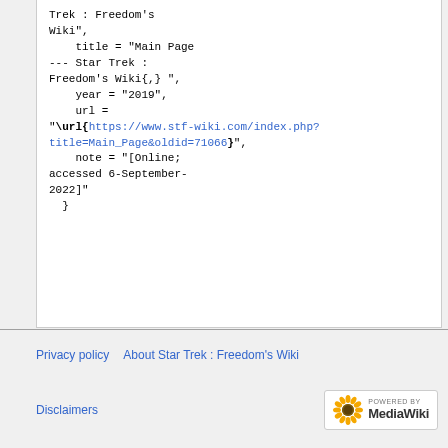Trek : Freedom's Wiki",
    title = "Main Page --- Star Trek : Freedom's Wiki{,} ",
    year = "2019",
    url = "\url{https://www.stf-wiki.com/index.php?title=Main_Page&oldid=71066}",
    note = "[Online; accessed 6-September-2022]"
  }
Privacy policy   About Star Trek : Freedom's Wiki   Disclaimers   Powered by MediaWiki